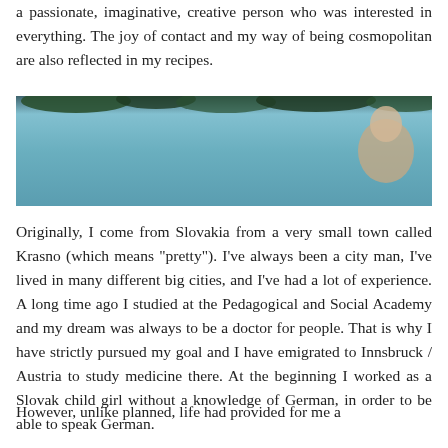a passionate, imaginative, creative person who was interested in everything. The joy of contact and my way of being cosmopolitan are also reflected in my recipes.
[Figure (photo): A partially visible outdoor or portrait photograph showing a teal/blue background with a figure visible at the right edge.]
Originally, I come from Slovakia from a very small town called Krasno (which means "pretty"). I've always been a city man, I've lived in many different big cities, and I've had a lot of experience. A long time ago I studied at the Pedagogical and Social Academy and my dream was always to be a doctor for people. That is why I have strictly pursued my goal and I have emigrated to Innsbruck / Austria to study medicine there. At the beginning I worked as a Slovak child girl without a knowledge of German, in order to be able to speak German.
However, unlike planned, life had provided for me a